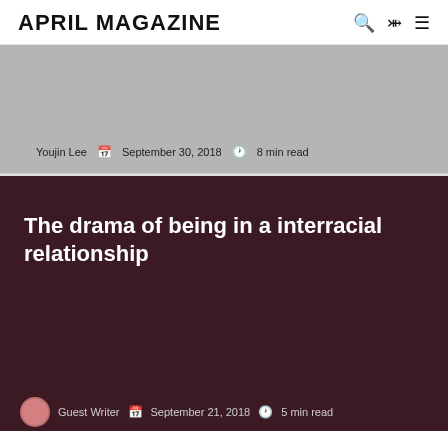APRIL MAGAZINE
[Figure (illustration): Gray image card with article metadata: Youjin Lee, September 30, 2018, 8 min read]
Youjin Lee  September 30, 2018  8 min read
[Figure (illustration): Dark maroon article card with title: The drama of being in a interracial relationship, and partial author/date metadata at bottom]
The drama of being in a interracial relationship
Guest Writer  September 21, 2018  5 min read